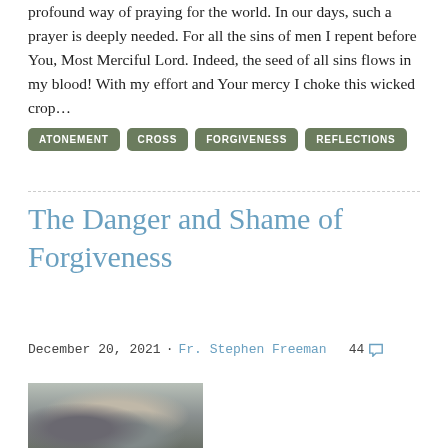profound way of praying for the world. In our days, such a prayer is deeply needed. For all the sins of men I repent before You, Most Merciful Lord. Indeed, the seed of all sins flows in my blood! With my effort and Your mercy I choke this wicked crop…
ATONEMENT
CROSS
FORGIVENESS
REFLECTIONS
The Danger and Shame of Forgiveness
December 20, 2021 · Fr. Stephen Freeman    44 💬
[Figure (photo): A painting showing a wintry or misty outdoor scene with figures and rocks]